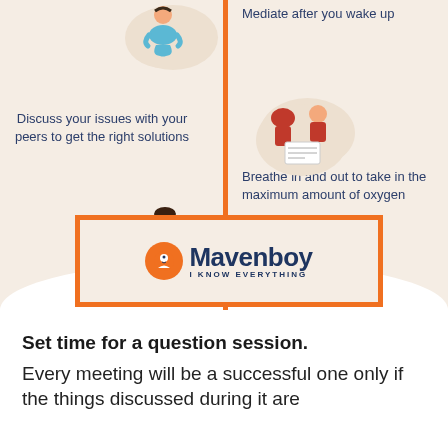[Figure (infographic): Wellness/mindfulness infographic with two columns separated by an orange vertical line. Left side shows a child figure with text about discussing issues with peers. Right side shows a meditating figure, two people discussing, and text about meditating after waking up and breathing in/out for oxygen. A Mavenboy logo box sits at the bottom center.]
Set time for a question session.
Every meeting will be a successful one only if the things discussed during it are